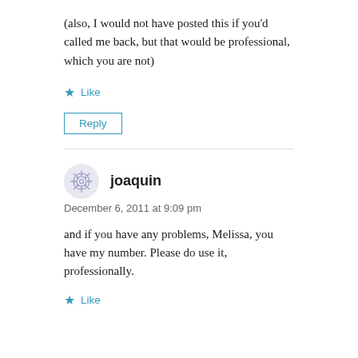(also, I would not have posted this if you'd called me back, but that would be professional, which you are not)
★ Like
Reply
joaquin
December 6, 2011 at 9:09 pm
and if you have any problems, Melissa, you have my number. Please do use it, professionally.
★ Like